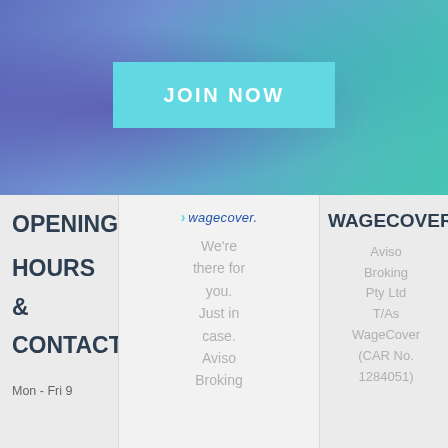[Figure (other): Blue-teal gradient banner background with textured appearance]
JOIN NOW
[Figure (logo): WageCover logo with arrow icon and italic text in blue]
OPENING HOURS & CONTACT
Mon - Fri 9
We're there for you. Just in case. Aviso Broking
WAGECOVER
Aviso Broking Pty Ltd T/As WageCover (CAR No. 1284051)